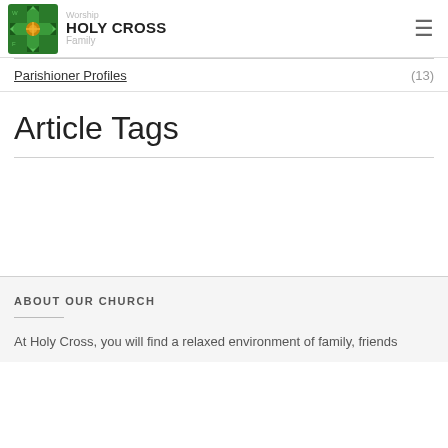[Figure (logo): Holy Cross church logo: green and gold ornate cross emblem]
HOLY CROSS
Family
≡
Parishioner Profiles (13)
Article Tags
ABOUT OUR CHURCH
At Holy Cross, you will find a relaxed environment of family, friends